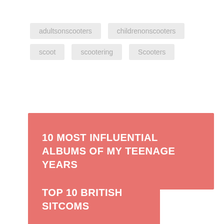adultsonscooters
childrenonscooters
scoot
scootering
Scooters
10 MOST INFLUENTIAL ALBUMS OF MY TEENAGE YEARS
TOP 10 BRITISH SITCOMS